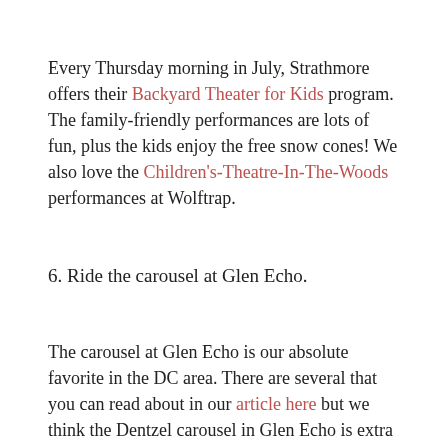Every Thursday morning in July, Strathmore offers their Backyard Theater for Kids program. The family-friendly performances are lots of fun, plus the kids enjoy the free snow cones! We also love the Children's-Theatre-In-The-Woods performances at Wolftrap.
6. Ride the carousel at Glen Echo.
The carousel at Glen Echo is our absolute favorite in the DC area. There are several that you can read about in our article here but we think the Dentzel carousel in Glen Echo is extra special! Plus there are so many other things to do while